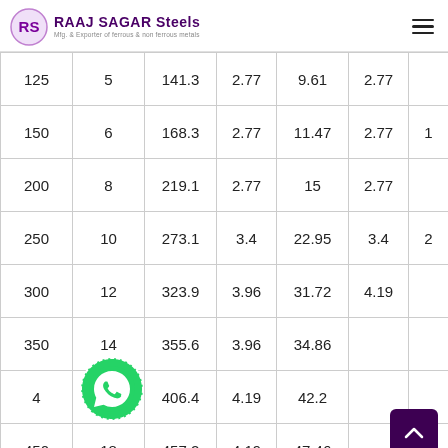RAAJ SAGAR Steels — Mfg. & Exporter of ferrous & non ferrous metals
| Col1 | Col2 | Col3 | Col4 | Col5 | Col6 | Col7 |
| --- | --- | --- | --- | --- | --- | --- |
| 125 | 5 | 141.3 | 2.77 | 9.61 | 2.77 |  |
| 150 | 6 | 168.3 | 2.77 | 11.47 | 2.77 | 1 |
| 200 | 8 | 219.1 | 2.77 | 15 | 2.77 |  |
| 250 | 10 | 273.1 | 3.4 | 22.95 | 3.4 | 2 |
| 300 | 12 | 323.9 | 3.96 | 31.72 | 4.19 |  |
| 350 | 14 | 355.6 | 3.96 | 34.86 |  |  |
| 4… | 16 | 406.4 | 4.19 | 42.2 |  |  |
| 450 | 18 | 457.2 | 4.19 | 47.46 |  |  |